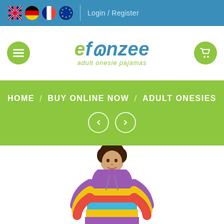Login / Register
[Figure (logo): eFunzee adult onesie pajamas logo with green and blue text]
HOME / BUY ONLINE NOW / ADULT ONESIES
[Figure (photo): Man wearing a colorful striped hooded onesie pajama with rainbow horizontal stripes in purple, yellow, red, blue, and more]